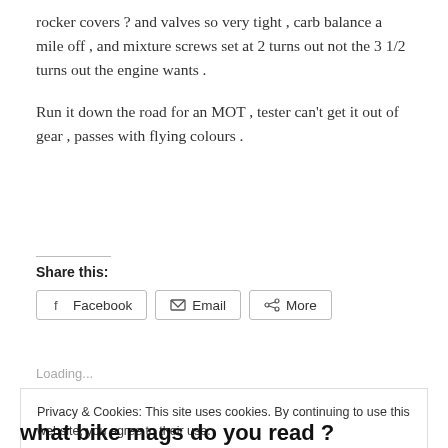rocker covers ? and valves so very tight , carb balance a mile off , and mixture screws set at 2 turns out not the 3 1/2 turns out the engine wants .
Run it down the road for an MOT , tester can't get it out of gear , passes with flying colours .
Share this:
[Figure (screenshot): Share buttons for Facebook, Email, and More]
Loading...
Privacy & Cookies: This site uses cookies. By continuing to use this website, you agree to their use.
To find out more, including how to control cookies, see here: Cookie Policy
Close and accept
what bike mags do you read ?